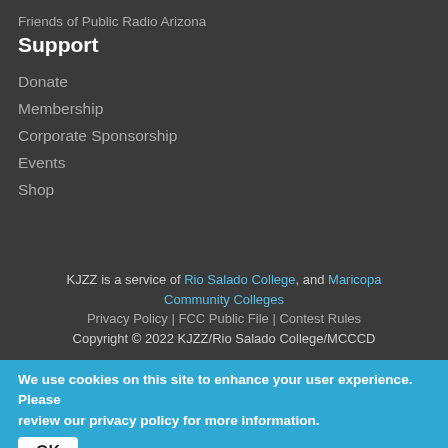Friends of Public Radio Arizona
Support
Donate
Membership
Corporate Sponsorship
Events
Shop
KJZZ is a service of Rio Salado College, and Maricopa Community Colleges
Privacy Policy | FCC Public File | Contest Rules
Copyright © 2022 KJZZ/Rio Salado College/MCCCD
We use cookies on this site to enhance your user experience. Please review our privacy policy for more information.
OK